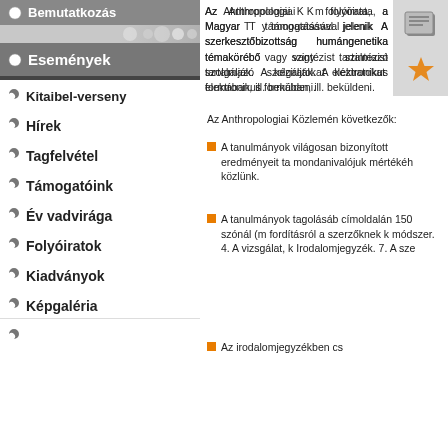Bemutatkozás
Események
Kitaibel-verseny
Hírek
Tagfelvétel
Támogatóink
Év vadvirága
Folyóiratok
Kiadványok
Képgaléria
Az Anthropologiai K... folyóirata, a Magyar T... támogatásával jelenik... A szerkesztőbizottság... humángenetika témakörébő... vagy szintézist tartalmazó... szolgálják. A kéziratokat... elektronikus formában, ill.... beküldeni.
Az Anthropologiai Közlemén... következők:
A tanulmányok világosan... bizonyított eredményeit ta... mondanivalójuk mértékéh... közlünk.
A tanulmányok tagolásáb... címoldalán 150 szónál (m... fordításról a szerzőknek k... módszer. 4. A vizsgálat, k... Irodalomjegyzék. 7. A sze...
Az irodalomjegyzékben cs...